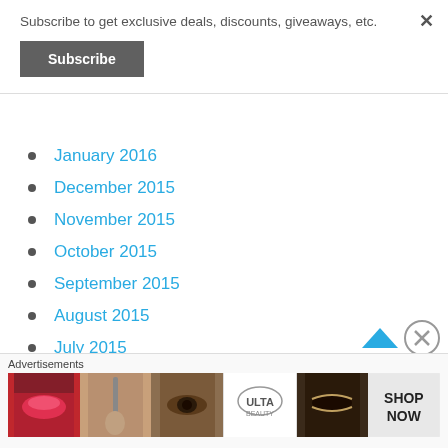Subscribe to get exclusive deals, discounts, giveaways, etc.
Subscribe
January 2016
December 2015
November 2015
October 2015
September 2015
August 2015
July 2015
Advertisements
[Figure (infographic): Advertisement banner for ULTA beauty showing makeup product images and 'SHOP NOW' text]